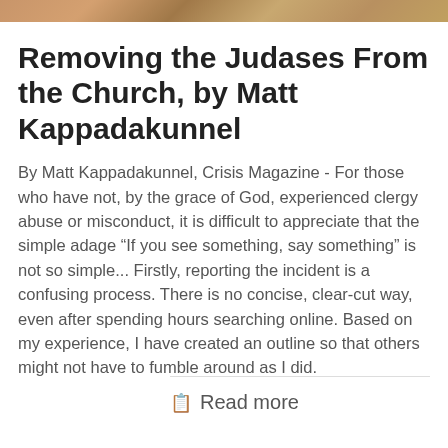[Figure (photo): Partial image strip at top of page showing what appears to be figures from a painting or artwork, cropped to a narrow horizontal band]
Removing the Judases From the Church, by Matt Kappadakunnel
By Matt Kappadakunnel, Crisis Magazine - For those who have not, by the grace of God, experienced clergy abuse or misconduct, it is difficult to appreciate that the simple adage “If you see something, say something” is not so simple... Firstly, reporting the incident is a confusing process. There is no concise, clear-cut way, even after spending hours searching online. Based on my experience, I have created an outline so that others might not have to fumble around as I did.
Read more